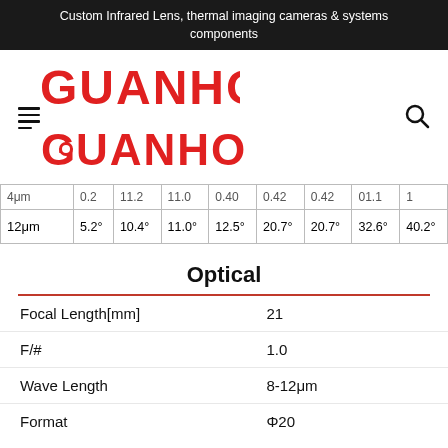Custom Infrared Lens, thermal imaging cameras & systems components
[Figure (logo): GUANHOM logo in red with hamburger menu icon on left and search icon on right]
| 4μm | 0.2 | 11.2 | 11.0 | 0.40 | 0.42 | 0.42 | 01.1 | 1 |
| 12μm | 5.2° | 10.4° | 11.0° | 12.5° | 20.7° | 20.7° | 32.6° | 40.2° |
Optical
| Focal Length[mm] | 21 |
| F/# | 1.0 |
| Wave Length | 8-12μm |
| Format | Φ20 |
Mechanical